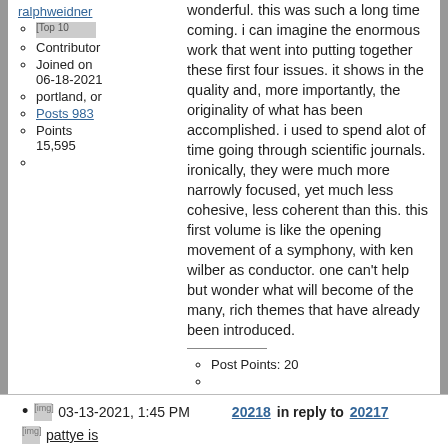ralphweidner
Top 10 Contributor
Joined on 06-18-2021
portland, or
Posts 983
Points 15,595
wonderful.  this was such a long time coming.   i can imagine the enormous work that went into putting together these first four issues.   it shows in the quality and, more importantly, the originality of what has been accomplished.  i used to spend alot of time going through scientific journals.  ironically, they were much more narrowly focused, yet much less cohesive, less coherent than this.  this first volume is like the opening movement of a symphony, with ken wilber as conductor.  one can't help but wonder what will become of the many, rich themes that have already been introduced.
Post Points: 20
Report abuse
03-13-2021, 1:45 PM  20218 in reply to 20217
pattye is